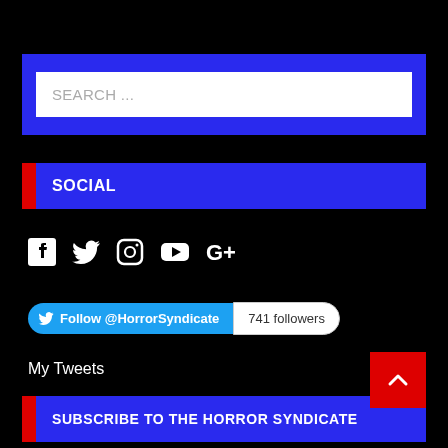[Figure (screenshot): Search bar with blue background and white input field showing placeholder text SEARCH ...]
SOCIAL
[Figure (infographic): Social media icons: Facebook, Twitter, Instagram, YouTube, Google+]
[Figure (infographic): Twitter Follow button for @HorrorSyndicate with 741 followers badge]
My Tweets
SUBSCRIBE TO THE HORROR SYNDICATE
Enter your email address to subscribe.
Join 911 other subscribers